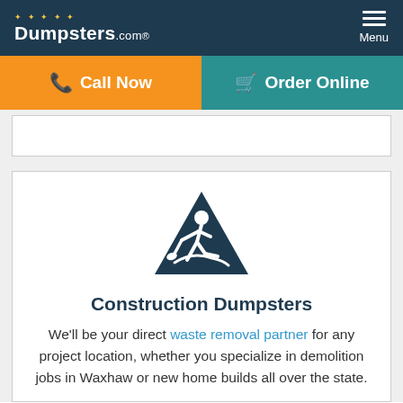Dumpsters.com — Menu
Call Now | Order Online
[Figure (screenshot): Empty white box with border, partially visible above the main content card]
[Figure (illustration): Dark navy construction worker warning sign — triangular sign with a person digging icon]
Construction Dumpsters
We'll be your direct waste removal partner for any project location, whether you specialize in demolition jobs in Waxhaw or new home builds all over the state.